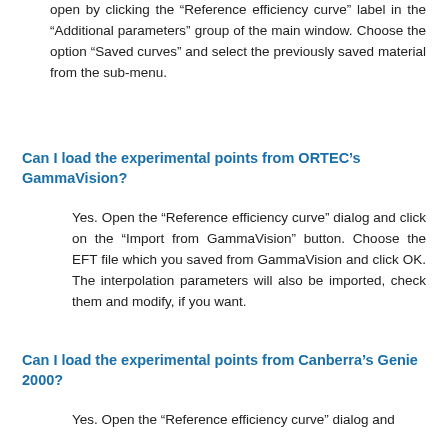open by clicking the “Reference efficiency curve” label in the “Additional parameters” group of the main window. Choose the option “Saved curves” and select the previously saved material from the sub-menu.
Can I load the experimental points from ORTEC’s GammaVision?
Yes. Open the “Reference efficiency curve” dialog and click on the “Import from GammaVision” button. Choose the EFT file which you saved from GammaVision and click OK. The interpolation parameters will also be imported, check them and modify, if you want.
Can I load the experimental points from Canberra’s Genie 2000?
Yes. Open the “Reference efficiency curve” dialog and click on the “Import from Canberra CAM file”...